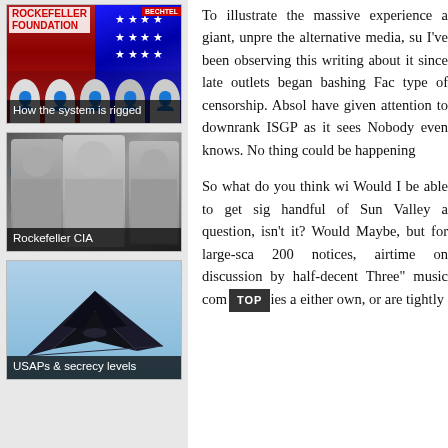[Figure (photo): Thumbnail image captioned 'How the system is rigged' showing political illustration with flags and faces]
[Figure (photo): Thumbnail image captioned 'Rockefeller CIA' showing black and white portraits of men in front of CIA-related background]
[Figure (photo): Thumbnail image captioned 'USAPs & secrecy levels' showing a stealth aircraft against a sky background]
To illustrate the massive experience a giant, unpre the alternative media, su I've been observing this writing about it since late outlets began bashing Fac type of censorship. Absol have given attention to downrank ISGP as it sees Nobody even knows. No thing could be happening
So what do you think wi Would I be able to get sig handful of Sun Valley a question, isn't it? Would Maybe, but for large-sca 200 notices, airtime on discussion by half-decent Three" music com [TOP] ies a either own, or are tightly